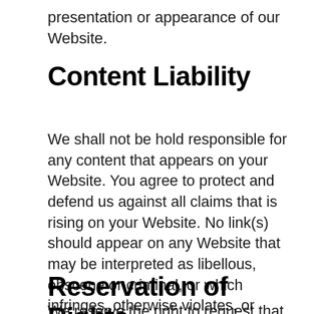presentation or appearance of our Website.
Content Liability
We shall not be hold responsible for any content that appears on your Website. You agree to protect and defend us against all claims that is rising on your Website. No link(s) should appear on any Website that may be interpreted as libellous, obscene or criminal, or which infringes, otherwise violates, or advocates the infringement or other violation of, any third party rights.
Reservation of Rights
We reserve the right to request that you remove